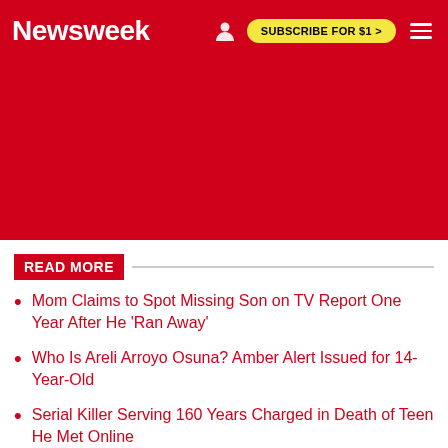Newsweek | SUBSCRIBE FOR $1 >
[Figure (other): Red advertisement banner area below Newsweek header]
READ MORE
Mom Claims to Spot Missing Son on TV Report One Year After He 'Ran Away'
Who Is Areli Arroyo Osuna? Amber Alert Issued for 14-Year-Old
Serial Killer Serving 160 Years Charged in Death of Teen He Met Online